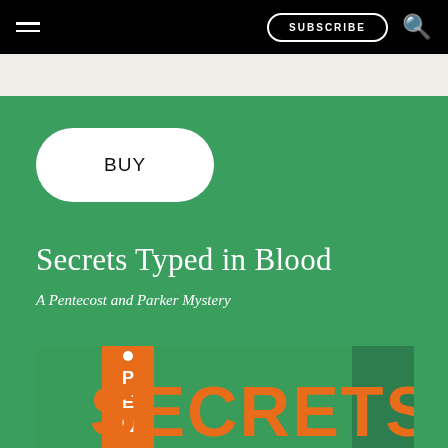SUBSCRIBE
Secrets Typed in Blood
A Pentecost and Parker Mystery
[Figure (illustration): Partial book cover showing the word SECRETS in large orange letters on a green background, with an orange spine element on the left side containing the letters P, E, N vertically]